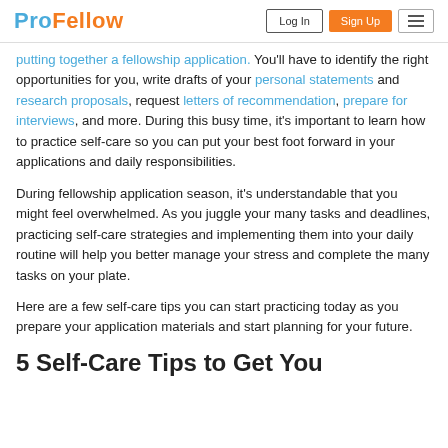ProFellow | Log In | Sign Up
putting together a fellowship application. You'll have to identify the right opportunities for you, write drafts of your personal statements and research proposals, request letters of recommendation, prepare for interviews, and more. During this busy time, it's important to learn how to practice self-care so you can put your best foot forward in your applications and daily responsibilities.
During fellowship application season, it's understandable that you might feel overwhelmed. As you juggle your many tasks and deadlines, practicing self-care strategies and implementing them into your daily routine will help you better manage your stress and complete the many tasks on your plate.
Here are a few self-care tips you can start practicing today as you prepare your application materials and start planning for your future.
5 Self-Care Tips to Get You